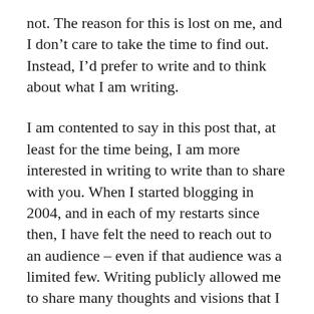not. The reason for this is lost on me, and I don't care to take the time to find out. Instead, I'd prefer to write and to think about what I am writing.
I am contented to say in this post that, at least for the time being, I am more interested in writing to write than to share with you. When I started blogging in 2004, and in each of my restarts since then, I have felt the need to reach out to an audience – even if that audience was a limited few. Writing publicly allowed me to share many thoughts and visions that I otherwise wouldn't have had occasion to share. And I received feedback from some folks that they liked what I write, or they found it sad. Most often, people wonder if what I write is true. They usually wonder this about those entries that blend what is left of the truth when it's pecked by my fingertips with the thoughts dangling about in my head like cured meet in a butchers meat locker.